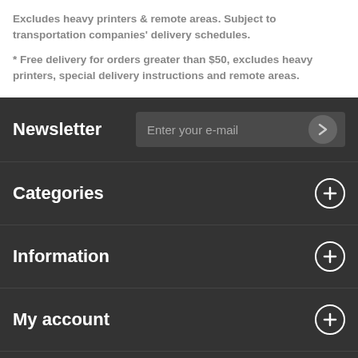Excludes heavy printers & remote areas. Subject to transportation companies' delivery schedules.
* Free delivery for orders greater than $50, excludes heavy printers, special delivery instructions and remote areas.
Newsletter
Categories
Information
My account
Store Information